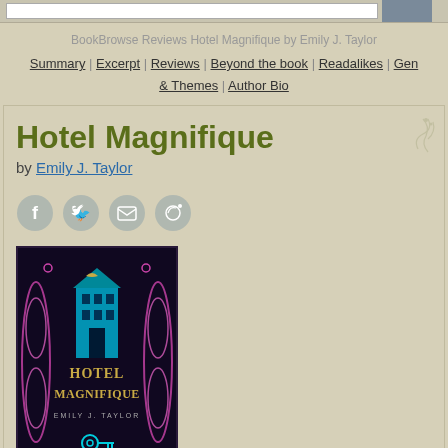BookBrowse Reviews Hotel Magnifique by Emily J. Taylor
Summary | Excerpt | Reviews | Beyond the book | Readalikes | Gen & Themes | Author Bio
Hotel Magnifique
by Emily J. Taylor
[Figure (illustration): Social sharing icons: Facebook, Twitter, RSS, Email]
[Figure (photo): Book cover of Hotel Magnifique by Emily J. Taylor — dark background with ornate purple/pink floral designs, teal hotel building, and a key]